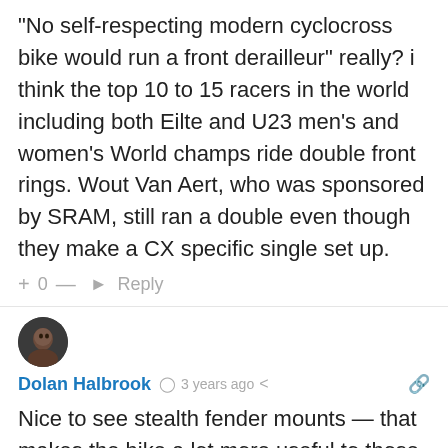“No self-respecting modern cyclocross bike would run a front derailleur” really? i think the top 10 to 15 racers in the world including both Eilte and U23 men’s and women’s World champs ride double front rings. Wout Van Aert, who was sponsored by SRAM, still ran a double even though they make a CX specific single set up.
+ 0 —  ► Reply
[Figure (photo): Small circular avatar of Dolan Halbrook showing a person's face]
Dolan Halbrook  ◷ 3 years ago  <  🔗
Nice to see stealth fender mounts — that makes the bike a lot more useful to those of us in rainy places when cross season is over. Seems like